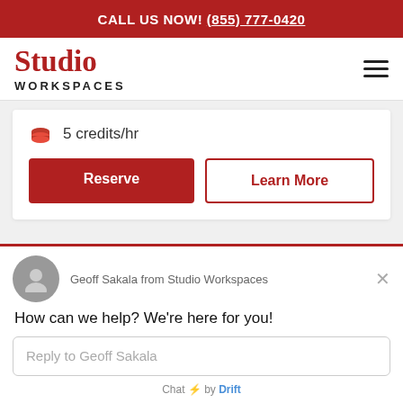CALL US NOW! (855) 777-0420
[Figure (logo): Studio Workspaces logo with hamburger menu icon]
5 credits/hr
Reserve
Learn More
Geoff Sakala from Studio Workspaces
How can we help? We're here for you!
Reply to Geoff Sakala
Chat ⚡ by Drift